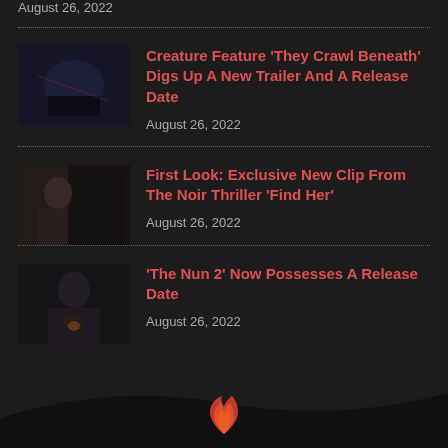August 26, 2022
[Figure (photo): Dark thumbnail image for creature feature article]
Creature Feature ‘They Crawl Beneath’ Digs Up A New Trailer And A Release Date
August 26, 2022
[Figure (photo): Dark thumbnail image for noir thriller article]
First Look: Exclusive New Clip From The Noir Thriller ‘Find Her’
August 26, 2022
[Figure (photo): Dark thumbnail image for The Nun 2 article]
‘The Nun 2’ Now Possesses A Release Date
August 26, 2022